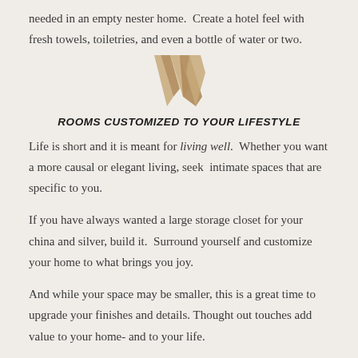needed in an empty nester home.  Create a hotel feel with fresh towels, toiletries, and even a bottle of water or two.
[Figure (logo): Decorative W logo mark in gold/bronze tones, stylized overlapping W shape]
ROOMS CUSTOMIZED TO YOUR LIFESTYLE
Life is short and it is meant for living well.  Whether you want a more causal or elegant living, seek  intimate spaces that are specific to you.
If you have always wanted a large storage closet for your china and silver, build it.  Surround yourself and customize your home to what brings you joy.
And while your space may be smaller, this is a great time to upgrade your finishes and details. Thought out touches add value to your home- and to your life.